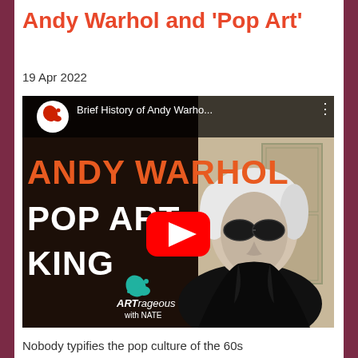Andy Warhol and 'Pop Art'
19 Apr 2022
[Figure (screenshot): YouTube video thumbnail showing 'Brief History of Andy Warho...' video from ARTrageous with Nate channel. Shows a black and white photo of Andy Warhol alongside text 'ANDY WARHOL POP ART KING' in orange letters, with a red YouTube play button in the center.]
Nobody typifies the pop culture of the 60s